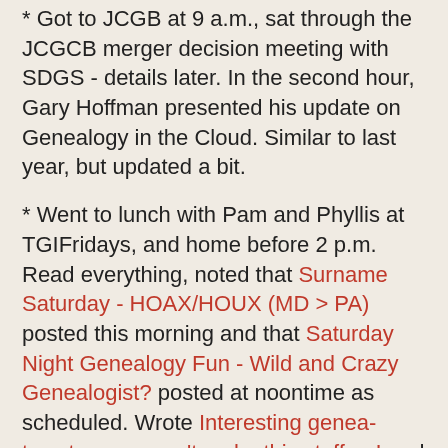Got to JCGB at 9 a.m., sat through the JCGCB merger decision meeting with SDGS - details later. In the second hour, Gary Hoffman presented his update on Genealogy in the Cloud. Similar to last year, but updated a bit.
* Went to lunch with Pam and Phyllis at TGIFridays, and home before 2 p.m. Read everything, noted that Surname Saturday - HOAX/HOUX (MD > PA) posted this morning and that Saturday Night Genealogy Fun - Wild and Crazy Genealogist? posted at noontime as scheduled. Wrote Interesting genea-tweets... you can't make this stuff up! and scheduled it for later.
* Went in at 3 p.m. to take a nap and then watched Padres game starting at 4 p.m. Read the paper, had dinner, and read my Robert Parker book. Switched between Padres game (lost 6-5 to Brewers) and Chargers game (lost 16-14 to Cowboys) after 6 p.m. Was ready to come back to computer, but had to go to store for new eggs after Linda threw out old ones.
* Finally back online at 9 p.m., read everything, wrote CCCCD Lives to see another day... about the CCCCD/SDGS